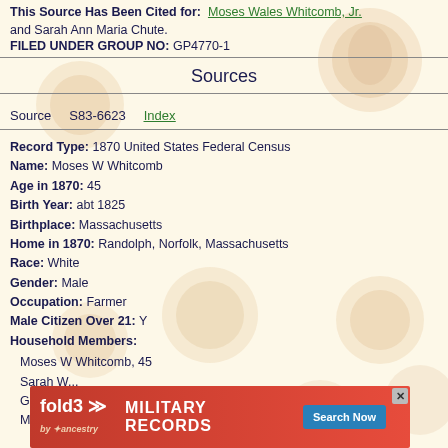This Source Has Been Cited for: Moses Wales Whitcomb, Jr. and Sarah Ann Maria Chute.
FILED UNDER GROUP NO: GP4770-1
Sources
Source   S83-6623   Index
Record Type: 1870 United States Federal Census
Name: Moses W Whitcomb
Age in 1870: 45
Birth Year: abt 1825
Birthplace: Massachusetts
Home in 1870: Randolph, Norfolk, Massachusetts
Race: White
Gender: Male
Occupation: Farmer
Male Citizen Over 21: Y
Household Members:
Moses W Whitcomb, 45
Sarah W...
George...
Moses...